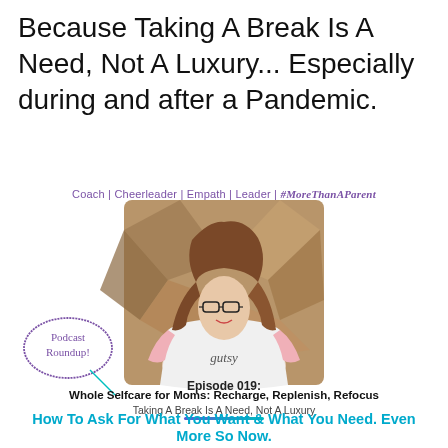Because Taking A Break Is A Need, Not A Luxury... Especially during and after a Pandemic.
Coach | Cheerleader | Empath | Leader | #MoreThanAParent
[Figure (photo): Woman with glasses and long brown hair wearing a pink and grey 'gutsy' shirt, smiling, on a geometric wood background. Overlaid with a hand-drawn speech bubble saying 'Podcast Roundup!']
Episode 019:
Whole Selfcare for Moms: Recharge, Replenish, Refocus
Taking A Break Is A Need, Not A Luxury
How To Ask For What You Want & What You Need. Even More So Now.